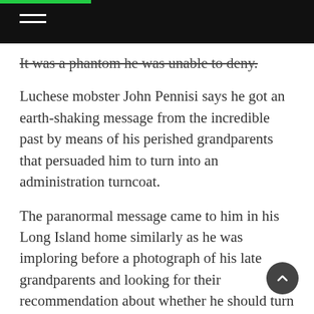It was a phantom he was unable to deny.
Luchese mobster John Pennisi says he got an earth-shaking message from the incredible past by means of his perished grandparents that persuaded him to turn into an administration turncoat.
The paranormal message came to him in his Long Island home similarly as he was imploring before a photograph of his late grandparents and looking for their recommendation about whether he should turn witness, he said in a new web recording. Exactly at that point, Pennisi says he